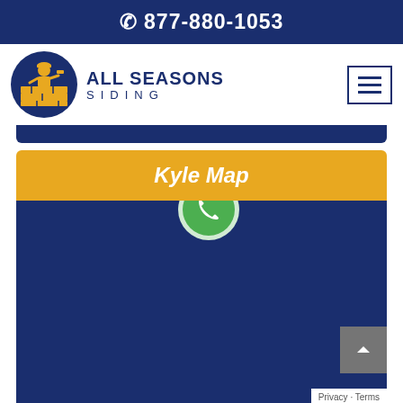877-880-1053
[Figure (logo): All Seasons Siding logo: circular navy blue badge with yellow construction worker figure holding trowel, standing on brick wall. Text reads ALL SEASONS SIDING in navy.]
Kyle Map
[Figure (map): Dark navy blue map placeholder area for Kyle map with a green circular phone button overlaid at the top center and a grey back-to-top arrow button at bottom right. Privacy - Terms label at bottom right corner.]